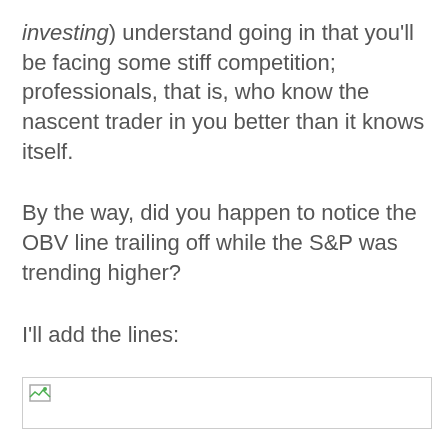investing) understand going in that you'll be facing some stiff competition; professionals, that is, who know the nascent trader in you better than it knows itself.
By the way, did you happen to notice the OBV line trailing off while the S&P was trending higher?
I'll add the lines:
[Figure (other): Broken/missing image placeholder with small image icon in top-left corner]